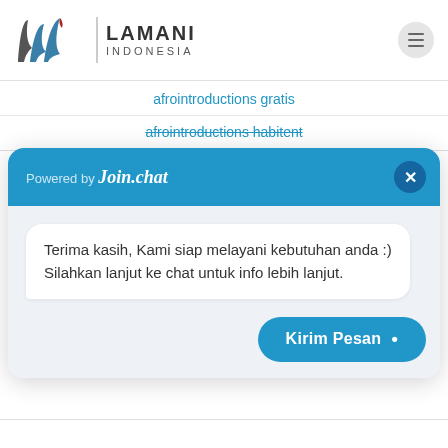[Figure (logo): Lamani Indonesia logo with stylized wave/leaf mark in dark grey and teal with red accent, followed by a vertical divider and company name LAMANI INDONESIA in bold]
afrointroductions gratis
afrointroductions habitent
Powered by Join.chat
Terima kasih, Kami siap melayani kebutuhan anda :)
Silahkan lanjut ke chat untuk info lebih lanjut.
Kirim Pesan •